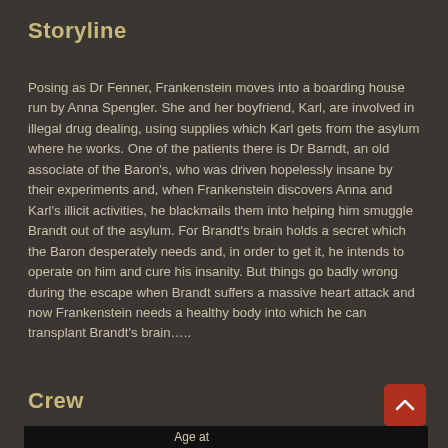Storyline
Posing as Dr Fenner, Frankenstein moves into a boarding house run by Anna Spengler. She and her boyfriend, Karl, are involved in illegal drug dealing, using supplies which Karl gets from the asylum where he works. One of the patients there is Dr Barndt, an old associate of the Baron's, who was driven hopelessly insane by their experiments and, when Frankenstein discovers Anna and Karl's illicit activities, he blackmails them into helping him smuggle Brandt out of the asylum. For Brandt's brain holds a secret which the Baron desperately needs and, in order to get it, he intends to operate on him and cure his insanity. But things go badly wrong during the escape when Brandt suffers a massive heart attack and now Frankenstein needs a healthy body into which he can transplant Brandt's brain…..
Watch the trailer on YouTube
Crew
| Function | Credited | Age at Role | Birth | Death | Age | Hammer |
| --- | --- | --- | --- | --- | --- | --- |